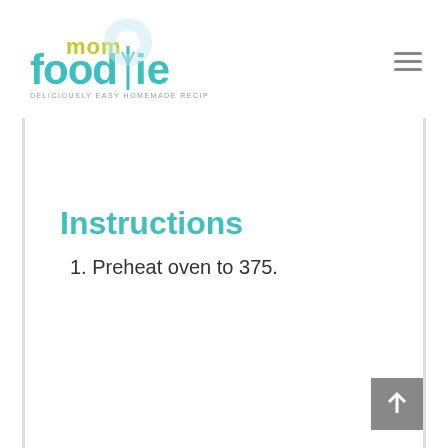mom foodie - DELICIOUSLY EASY HOMEMADE RECIPES
Instructions
1. Preheat oven to 375.